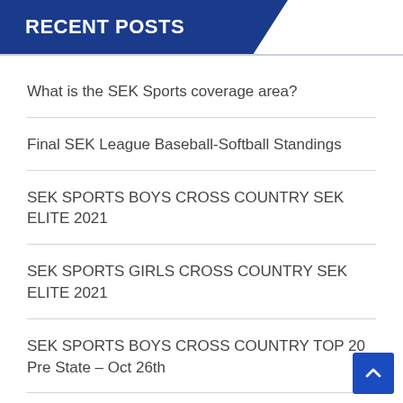RECENT POSTS
What is the SEK Sports coverage area?
Final SEK League Baseball-Softball Standings
SEK SPORTS BOYS CROSS COUNTRY SEK ELITE 2021
SEK SPORTS GIRLS CROSS COUNTRY SEK ELITE 2021
SEK SPORTS BOYS CROSS COUNTRY TOP 20 Pre State – Oct 26th
SEK SPORTS GIRLS CROSS COUNTRY TOP 20 Pre State – Oct 26th